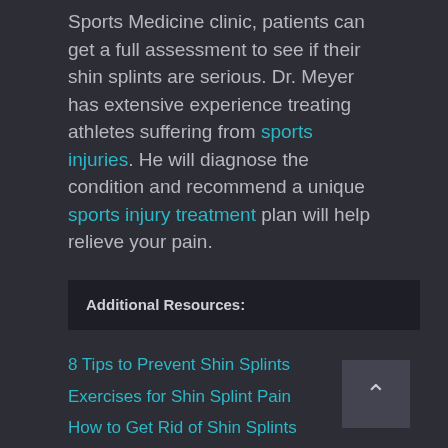Sports Medicine clinic, patients can get a full assessment to see if their shin splints are serious. Dr. Meyer has extensive experience treating athletes suffering from sports injuries. He will diagnose the condition and recommend a unique sports injury treatment plan will help relieve your pain.
Additional Resources:
8 Tips to Prevent Shin Splints
Exercises for Shin Splint Pain
How to Get Rid of Shin Splints